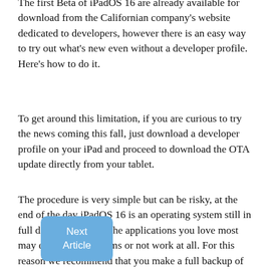The first Beta of iPadOS 16 are already available for download from the Californian company's website dedicated to developers, however there is an easy way to try out what's new even without a developer profile. Here's how to do it.
To get around this limitation, if you are curious to try the news coming this fall, just download a developer profile on your iPad and proceed to download the OTA update directly from your tablet.
The procedure is very simple but can be risky, at the end of the day iPadOS 16 is an operating system still in full development and the applications you love most may encounter problems or not work at all. For this reason we recommend that you make a full backup of your device before proceeding!